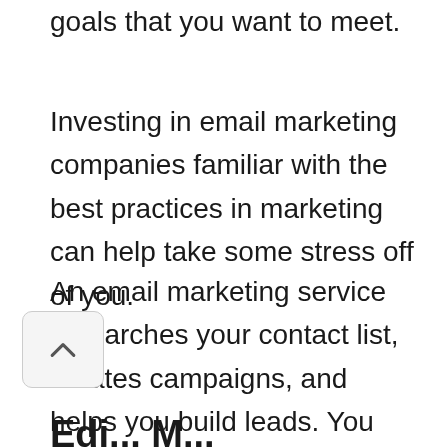goals that you want to meet.
Investing in email marketing companies familiar with the best practices in marketing can help take some stress off of you.
An email marketing service researches your contact list, creates campaigns, and helps you build leads. You can also keep track of your click-through and open rates.